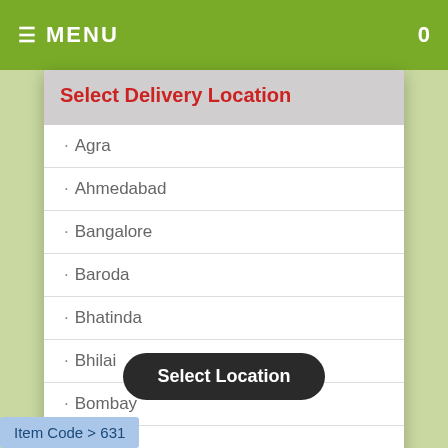≡ MENU  0
Select Delivery Location
· Agra
· Ahmedabad
· Bangalore
· Baroda
· Bhatinda
· Bhilai
· Bombay
· Cochin
· Dehradun
Select Location
Item Code > 631